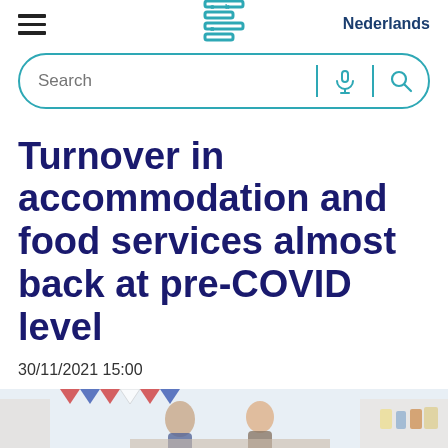CBS logo, hamburger menu, Nederlands
Search
Turnover in accommodation and food services almost back at pre-COVID level
30/11/2021 15:00
[Figure (photo): Photo of people at a food service or market setting with colorful decorations]